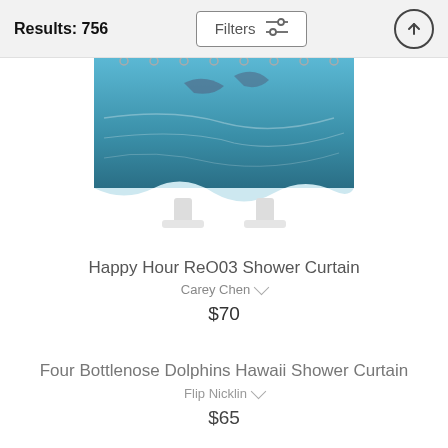Results: 756
[Figure (photo): Shower curtain product photo showing dolphins swimming in blue ocean water, displayed draped on a curtain rod with white rings.]
Happy Hour ReO03 Shower Curtain
Carey Chen
$70
Four Bottlenose Dolphins Hawaii Shower Curtain
Flip Nicklin
$65